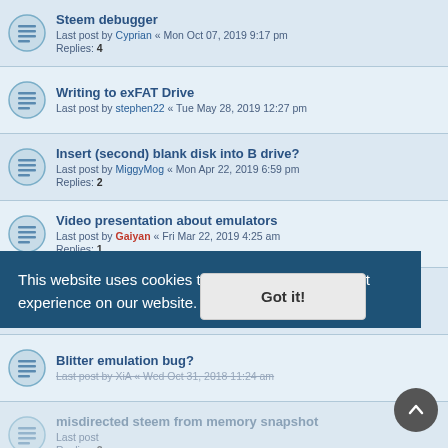Steem debugger — Last post by Cyprian « Mon Oct 07, 2019 9:17 pm — Replies: 4
Writing to exFAT Drive — Last post by stephen22 « Tue May 28, 2019 12:27 pm
Insert (second) blank disk into B drive? — Last post by MiggyMog « Mon Apr 22, 2019 6:59 pm — Replies: 2
Video presentation about emulators — Last post by Gaiyan « Fri Mar 22, 2019 4:25 am — Replies: 1
Steem correct fullscreen resolution bluriness — Last post by Cyprian « Sun Feb 10, 2019 7:22 pm — Replies: 1
Blitter emulation bug? — Last post by XiA « Wed Oct 31, 2018 11:24 am
misdirected steem from memory snapshot — Last post — Replies: 2
How can I insert 2 discos on Steem/Steem SSE? — Last post by SuperFransted « Thu Jul 12, 2018 1:47 pm
This website uses cookies to ensure you get the best experience on our website. Learn more
Got it!